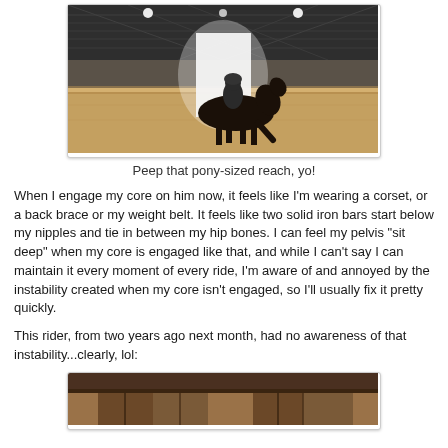[Figure (photo): Person riding a dark horse in an indoor arena. Bright window in the background, sandy floor.]
Peep that pony-sized reach, yo!
When I engage my core on him now, it feels like I'm wearing a corset, or a back brace or my weight belt. It feels like two solid iron bars start below my nipples and tie in between my hip bones. I can feel my pelvis "sit deep" when my core is engaged like that, and while I can't say I can maintain it every moment of every ride, I'm aware of and annoyed by the instability created when my core isn't engaged, so I'll usually fix it pretty quickly.
This rider, from two years ago next month, had no awareness of that instability...clearly, lol:
[Figure (photo): Partial view of a barn interior with wooden doors visible at the bottom of the frame.]